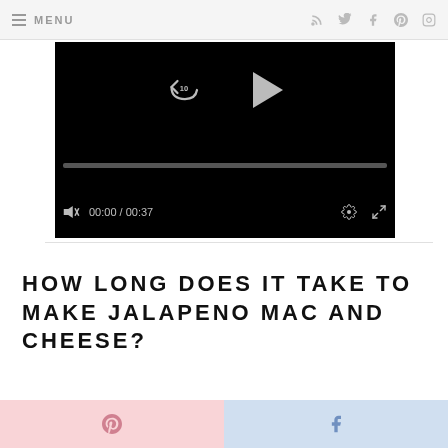≡ MENU   RSS Twitter Facebook Pinterest Instagram
[Figure (screenshot): Video player with black background, replay and play buttons, progress bar, timestamp 00:00 / 00:37, gear and fullscreen icons]
HOW LONG DOES IT TAKE TO MAKE JALAPENO MAC AND CHEESE?
[Figure (infographic): Pink Pinterest share button and blue Facebook share button at the bottom of the page]